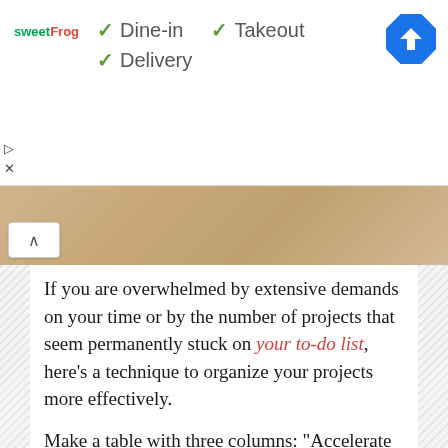[Figure (screenshot): Ad banner for sweetFrog with checkmarks for Dine-in, Takeout, and Delivery services, and a blue navigation/directions icon on the right]
[Figure (photo): Partial photo strip showing what appears to be stacked papers or files, mostly cropped, with a chevron/up arrow button overlaid on left side]
If you are overwhelmed by extensive demands on your time or by the number of projects that seem permanently stuck on your to-do list, here’s a technique to organize your projects more effectively.
Make a table with three columns: “Accelerate Mode,” “Maintain Mode,” and “Terminate Mode” and classify your projects.